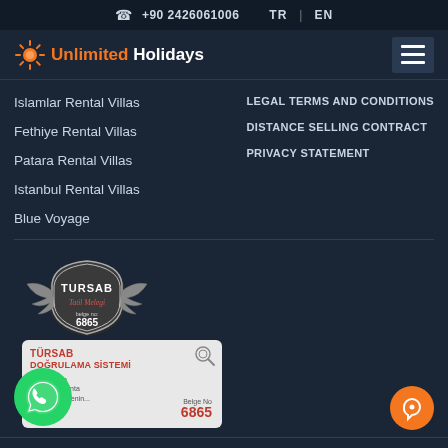+90 2426061006   TR | EN
[Figure (logo): Unlimited Holidays logo with sun icon]
Islamlar Rental Villas
Fethiye Rental Villas
Patara Rental Villas
Istanbul Rental Villas
Blue Voyage
LEGAL TERMS AND CONDITIONS
DISTANCE SELLING CONTRACT
PRIVACY STATEMENT
[Figure (logo): TURSAB Tatil Melegi badge with wings, belge no 6865]
[Figure (other): TURSAB Dogrulama Sistemi verification card showing Belge No 6865]
[Figure (other): WhatsApp contact button (green circle with phone icon)]
[Figure (other): Chat support button (orange circle)]